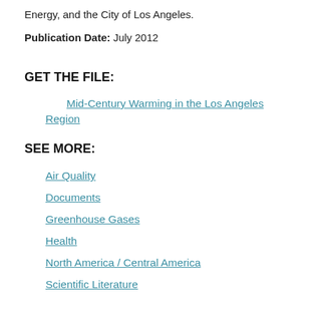Energy, and the City of Los Angeles.
Publication Date: July 2012
GET THE FILE:
Mid-Century Warming in the Los Angeles Region
SEE MORE:
Air Quality
Documents
Greenhouse Gases
Health
North America / Central America
Scientific Literature